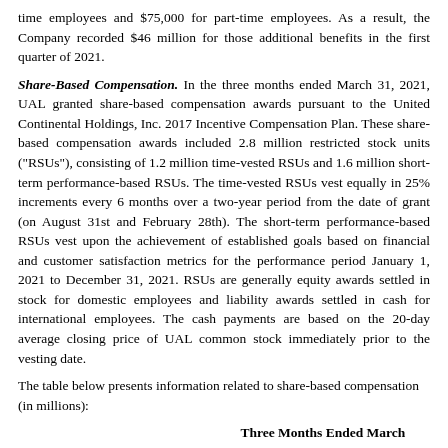time employees and $75,000 for part-time employees. As a result, the Company recorded $46 million for those additional benefits in the first quarter of 2021.
Share-Based Compensation. In the three months ended March 31, 2021, UAL granted share-based compensation awards pursuant to the United Continental Holdings, Inc. 2017 Incentive Compensation Plan. These share-based compensation awards included 2.8 million restricted stock units ("RSUs"), consisting of 1.2 million time-vested RSUs and 1.6 million short-term performance-based RSUs. The time-vested RSUs vest equally in 25% increments every 6 months over a two-year period from the date of grant (on August 31st and February 28th). The short-term performance-based RSUs vest upon the achievement of established goals based on financial and customer satisfaction metrics for the performance period January 1, 2021 to December 31, 2021. RSUs are generally equity awards settled in stock for domestic employees and liability awards settled in cash for international employees. The cash payments are based on the 20-day average closing price of UAL common stock immediately prior to the vesting date.
The table below presents information related to share-based compensation (in millions):
|  | Three Months Ended March 31, 2021 | Three Months Ended March 31, 2020 |
| --- | --- | --- |
| Share-based compensation expense | $ 34 | $ 18 |